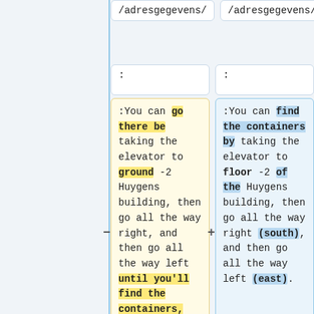/adresgegevens/
/adresgegevens/
:
:
:You can go there be taking the elevator to ground -2 Huygens building, then go all the way right, and then go all the way left until you'll find the containers, where you can dispose your stuff
:You can find the containers by taking the elevator to floor -2 of the Huygens building, then go all the way right (south), and then go all the way left (east).